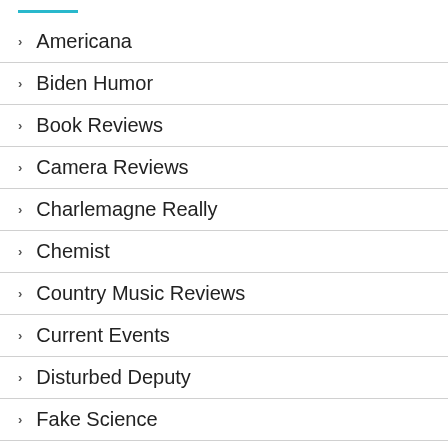Americana
Biden Humor
Book Reviews
Camera Reviews
Charlemagne Really
Chemist
Country Music Reviews
Current Events
Disturbed Deputy
Fake Science
Guest Contributors
Guns